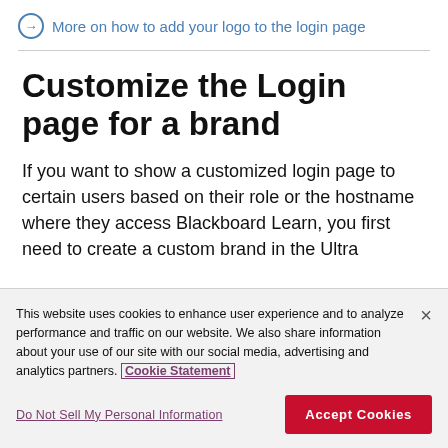→ More on how to add your logo to the login page
Customize the Login page for a brand
If you want to show a customized login page to certain users based on their role or the hostname where they access Blackboard Learn, you first need to create a custom brand in the Ultra
This website uses cookies to enhance user experience and to analyze performance and traffic on our website. We also share information about your use of our site with our social media, advertising and analytics partners. Cookie Statement
Do Not Sell My Personal Information
Accept Cookies